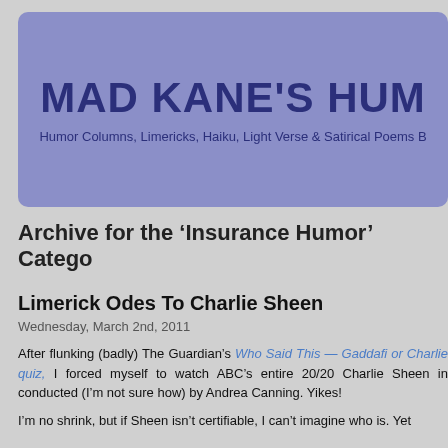MAD KANE'S HUM
Humor Columns, Limericks, Haiku, Light Verse & Satirical Poems B
Archive for the ‘Insurance Humor’ Catego
Limerick Odes To Charlie Sheen
Wednesday, March 2nd, 2011
After flunking (badly) The Guardian’s Who Said This — Gaddafi or Charlie quiz, I forced myself to watch ABC’s entire 20/20 Charlie Sheen in conducted (I'm not sure how) by Andrea Canning. Yikes!
I’m no shrink, but if Sheen isn’t certifiable, I can’t imagine who is. Yet